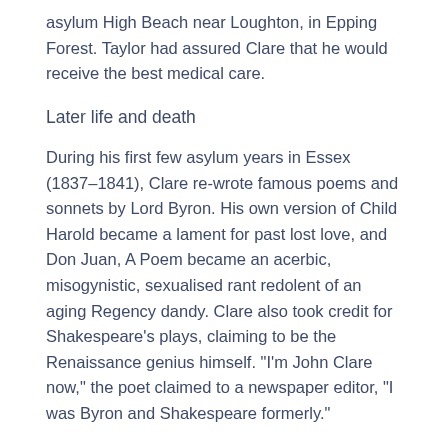asylum High Beach near Loughton, in Epping Forest. Taylor had assured Clare that he would receive the best medical care.
Later life and death
During his first few asylum years in Essex (1837–1841), Clare re-wrote famous poems and sonnets by Lord Byron. His own version of Child Harold became a lament for past lost love, and Don Juan, A Poem became an acerbic, misogynistic, sexualised rant redolent of an aging Regency dandy. Clare also took credit for Shakespeare's plays, claiming to be the Renaissance genius himself. "I'm John Clare now," the poet claimed to a newspaper editor, "I was Byron and Shakespeare formerly."